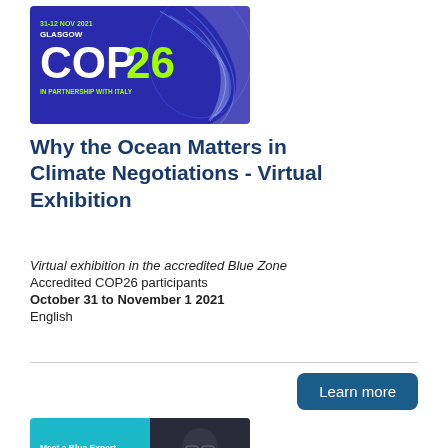[Figure (illustration): COP26 banner with dark blue/purple background, globe graphic, COP26 logo in white and green, text '31-12 NOV 2021', 'GLASGOW', 'IN PARTNERSHIP WITH ITALY']
Why the Ocean Matters in Climate Negotiations - Virtual Exhibition
Virtual exhibition in the accredited Blue Zone
Accredited COP26 participants
October 31 to November 1 2021
English
Learn more
[Figure (illustration): Meet a Blue Expert banner - teal left panel with text 'Meet a Blue Expert', 'Demystify the UNFCCC COP', 'with', 'Angelique Pouponneau'; right panel shows photo of a person]